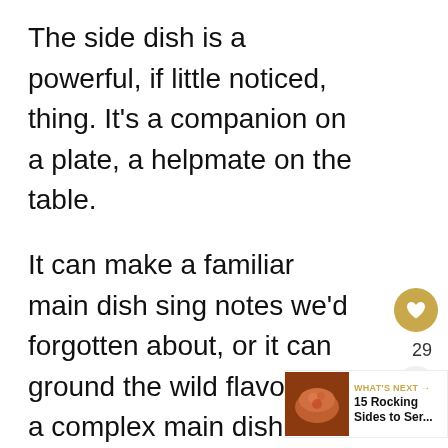The side dish is a powerful, if little noticed, thing. It's a companion on a plate, a helpmate on the table.
It can make a familiar main dish sing notes we'd forgotten about, or it can ground the wild flavors of a complex main dish while still letting its magical qualities come through.
Of course, your choice of a main dish plays a huge part in where your m headed, but there's good reason to also
[Figure (other): UI overlay elements: a gold heart/like button, share button with count 29, and a 'What's Next' card showing '15 Rocking Sides to Ser...' with a food photo thumbnail]